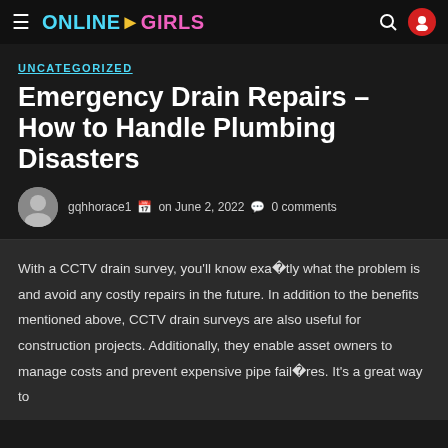ONLINE▶GIRLS
UNCATEGORIZED
Emergency Drain Repairs – How to Handle Plumbing Disasters
gqhhorace1  on June 2, 2022  0 comments
With a CCTV drain survey, you'll know exactly what the problem is and avoid any costly repairs in the future. In addition to the benefits mentioned above, CCTV drain surveys are also useful for construction projects. Additionally, they enable asset owners to manage costs and prevent expensive pipe failures. It's a great way to